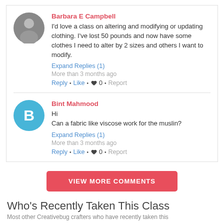Barbara E Campbell
I'd love a class on altering and modifying or updating clothing.  I've lost 50 pounds and now have some clothes I need to alter by 2 sizes and others I want to modify.
Expand Replies (1)
More than 3 months ago
Reply • Like • ♥ 0 • Report
Bint Mahmood
Hi
Can a fabric like viscose work for the muslin?
Expand Replies (1)
More than 3 months ago
Reply • Like • ♥ 0 • Report
VIEW MORE COMMENTS
Who's Recently Taken This Class
Most other Creativebug crafters who have recently taken this